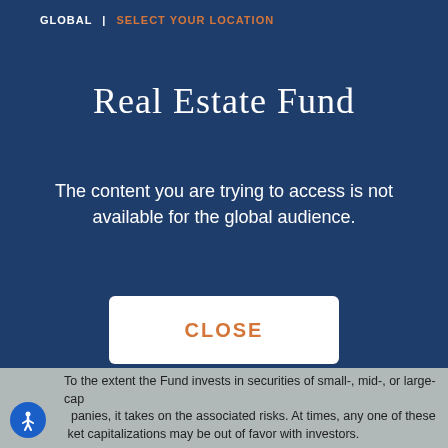GLOBAL | SELECT YOUR LOCATION
Real Estate Fund
The content you are trying to access is not available for the global audience.
CLOSE
To the extent the Fund invests in securities of small-, mid-, or large-cap panies, it takes on the associated risks. At times, any one of these ket capitalizations may be out of favor with investors.